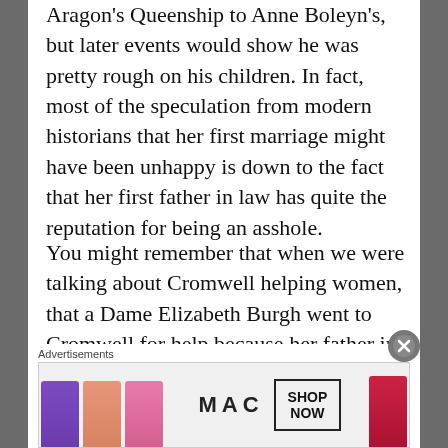Aragon's Queenship to Anne Boleyn's, but later events would show he was pretty rough on his children. In fact, most of the speculation from modern historians that her first marriage might have been unhappy is down to the fact that her first father in law has quite the reputation for being an asshole.
You might remember that when we were talking about Cromwell helping women, that a Dame Elizabeth Burgh went to Cromwell for help because her father in law was trying to declare her son illegitimate. Well, Lord Thomas Burgh was that father in law. Elizabeth's suit to Cromwell
Advertisements
[Figure (photo): MAC cosmetics advertisement showing lipsticks in purple, peach, pink, and red colors alongside the MAC logo and a SHOP NOW button]